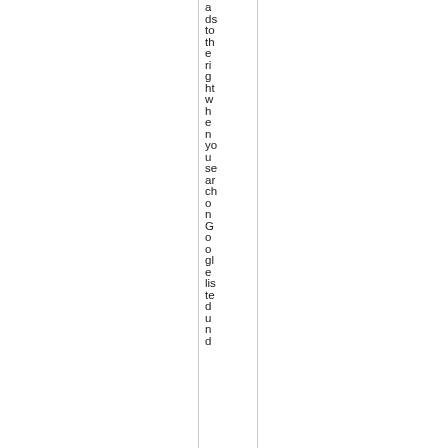ads to the right when you search on Google listed dound